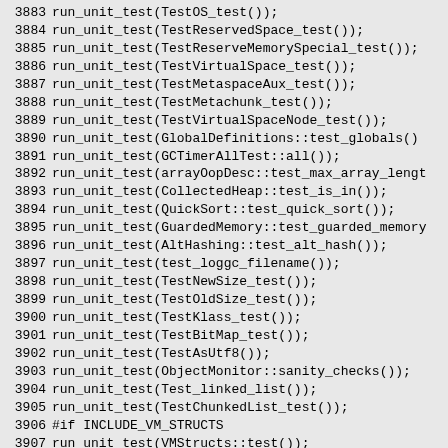3883    run_unit_test(TestOS_test());
3884    run_unit_test(TestReservedSpace_test());
3885    run_unit_test(TestReserveMemorySpecial_test());
3886    run_unit_test(TestVirtualSpace_test());
3887    run_unit_test(TestMetaspaceAux_test());
3888    run_unit_test(TestMetachunk_test());
3889    run_unit_test(TestVirtualSpaceNode_test());
3890    run_unit_test(GlobalDefinitions::test_globals());
3891    run_unit_test(GCTimerAllTest::all());
3892    run_unit_test(arrayOopDesc::test_max_array_length);
3893    run_unit_test(CollectedHeap::test_is_in());
3894    run_unit_test(QuickSort::test_quick_sort());
3895    run_unit_test(GuardedMemory::test_guarded_memory);
3896    run_unit_test(AltHashing::test_alt_hash());
3897    run_unit_test(test_loggc_filename());
3898    run_unit_test(TestNewSize_test());
3899    run_unit_test(TestOldSize_test());
3900    run_unit_test(TestKlass_test());
3901    run_unit_test(TestBitMap_test());
3902    run_unit_test(TestAsUtf8());
3903    run_unit_test(ObjectMonitor::sanity_checks());
3904    run_unit_test(Test_linked_list());
3905    run_unit_test(TestChunkedList_test());
3906 #if INCLUDE_VM_STRUCTS
3907    run_unit_test(VMStructs::test());
3908 #endif
3909 #if INCLUDE_ALL_GCS
3910    run_unit_test(TestOldFreeSpaceCalculation_test();
3911    run_unit_test(TestG1BiasedArray_test());
3912    run_unit_test(HeapRegionRemSet::test_prt());